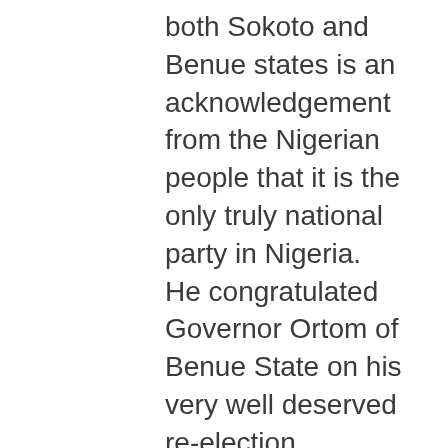both Sokoto and Benue states is an acknowledgement from the Nigerian people that it is the only truly national party in Nigeria. He congratulated Governor Ortom of Benue State on his very well deserved re-election. saying “Mr. Ortom is not just a credit to the PDP, he